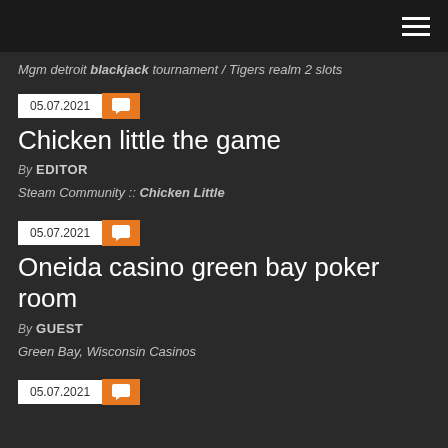Mgm detroit blackjack tournament / Tigers realm 2 slots
05.07.2021
Chicken little the game
By EDITOR
Steam Community :: Chicken Little
05.07.2021
Oneida casino green bay poker room
By GUEST
Green Bay, Wisconsin Casinos
05.07.2021